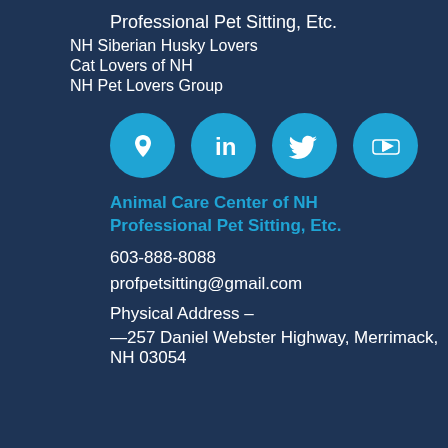Professional Pet Sitting, Etc.
NH Siberian Husky Lovers
Cat Lovers of NH
NH Pet Lovers Group
[Figure (infographic): Four social media icon circles in cyan/blue: Google Maps, LinkedIn, Twitter, YouTube]
Animal Care Center of NH
Professional Pet Sitting, Etc.
603-888-8088
profpetsitting@gmail.com
Physical Address –
—257 Daniel Webster Highway, Merrimack, NH 03054